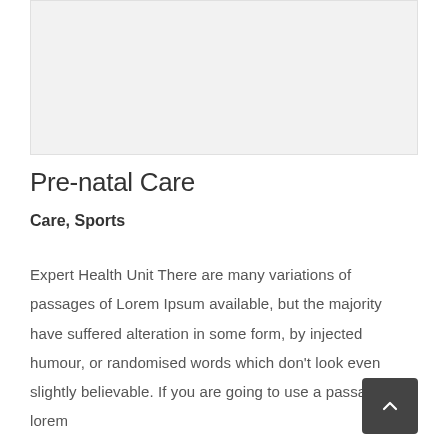[Figure (other): Light gray placeholder image/banner at the top of the page]
Pre-natal Care
Care, Sports
Expert Health Unit There are many variations of passages of Lorem Ipsum available, but the majority have suffered alteration in some form, by injected humour, or randomised words which don't look even slightly believable. If you are going to use a passage of lorem